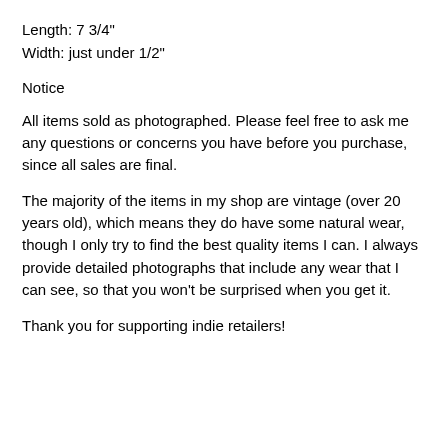Length: 7 3/4"
Width: just under 1/2"
Notice
All items sold as photographed. Please feel free to ask me any questions or concerns you have before you purchase, since all sales are final.
The majority of the items in my shop are vintage (over 20 years old), which means they do have some natural wear, though I only try to find the best quality items I can. I always provide detailed photographs that include any wear that I can see, so that you won't be surprised when you get it.
Thank you for supporting indie retailers!